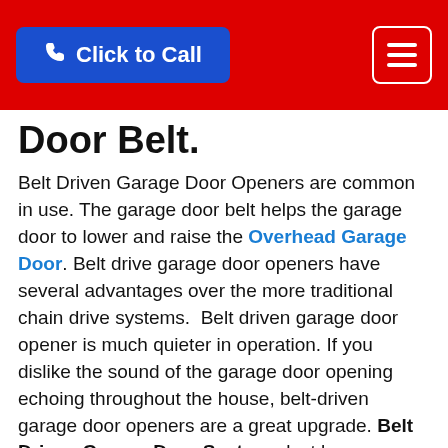Click to Call [navigation button]
Door Belt.
Belt Driven Garage Door Openers are common in use. The garage door belt helps the garage door to lower and raise the Overhead Garage Door. Belt drive garage door openers have several advantages over the more traditional chain drive systems. Belt driven garage door opener is much quieter in operation. If you dislike the sound of the garage door opening echoing throughout the house, belt-driven garage door openers are a great upgrade. Belt Driven Garage Door Systems last longer without maintenance than chain drive systems. The belt used to operate the garage door is exceedingly durable, immune to corrosion, and exceedingly quiet in operation. A damaged or loose garage door belt